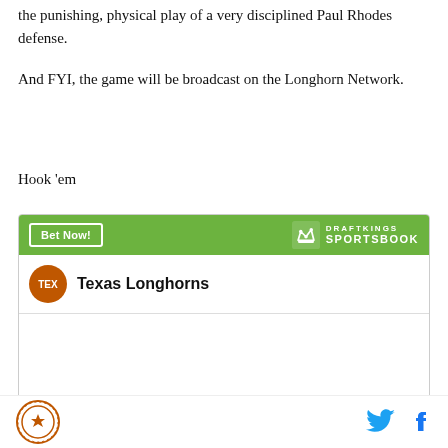the punishing, physical play of a very disciplined Paul Rhodes defense.
And FYI, the game will be broadcast on the Longhorn Network.
Hook 'em
[Figure (infographic): DraftKings Sportsbook widget showing Texas Longhorns betting odds. Header is green with 'Bet Now!' button and DraftKings Sportsbook logo. Team row shows TEX badge and 'Texas Longhorns'. Odds row shows 'To win National Championship' with +3500.]
SB Nation logo, Twitter icon, Facebook icon